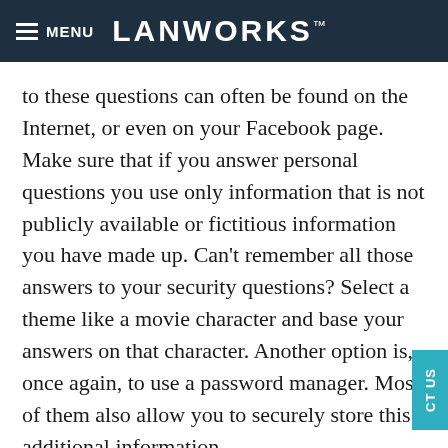MENU  LANWORKS™
to these questions can often be found on the Internet, or even on your Facebook page. Make sure that if you answer personal questions you use only information that is not publicly available or fictitious information you have made up. Can't remember all those answers to your security questions? Select a theme like a movie character and base your answers on that character. Another option is, once again, to use a password manager. Most of them also allow you to securely store this additional information.